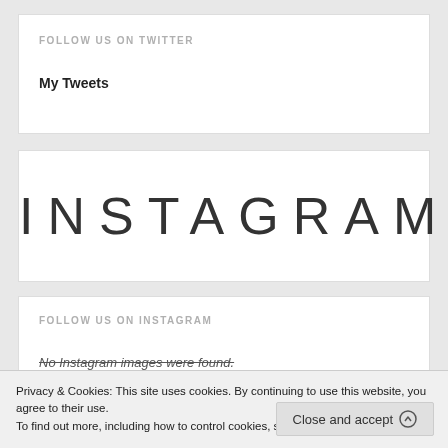FOLLOW US ON TWITTER
My Tweets
[Figure (logo): Instagram wordmark in thin uppercase letters]
FOLLOW US ON INSTAGRAM
No Instagram images were found.
Privacy & Cookies: This site uses cookies. By continuing to use this website, you agree to their use.
To find out more, including how to control cookies, see here: Cookie Policy
Close and accept